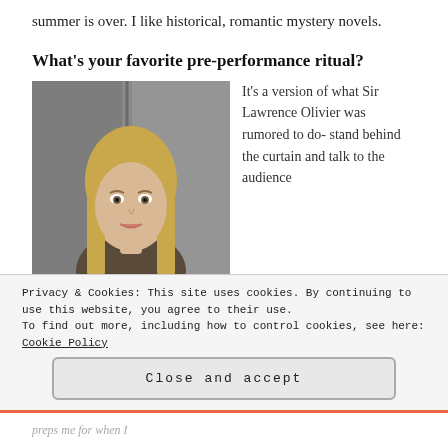summer is over. I like historical, romantic mystery novels.
What's your favorite pre-performance ritual?
[Figure (photo): Blonde woman with straight hair wearing a dark tank top, photographed against a grey stone wall background.]
It's a version of what Sir Lawrence Olivier was rumored to do- stand behind the curtain and talk to the audience
Privacy & Cookies: This site uses cookies. By continuing to use this website, you agree to their use.
To find out more, including how to control cookies, see here: Cookie Policy
Close and accept
preps me for when I